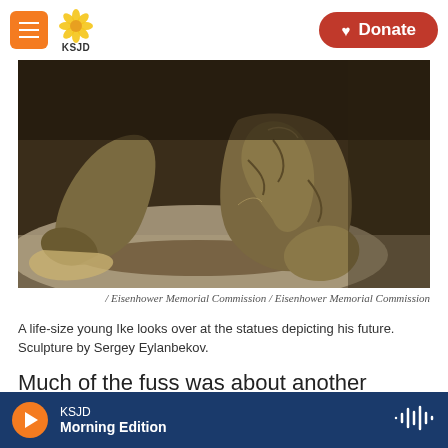KSJD | Donate
[Figure (photo): Close-up photo of a bronze sculpture showing the feet, knees and lower body of a sitting figure (young Ike), viewed from below against a bright floor surface.]
/ Eisenhower Memorial Commission / Eisenhower Memorial Commission
A life-size young Ike looks over at the statues depicting his future. Sculpture by Sergey Eylanbekov.
Much of the fuss was about another sculpture in the plan — a life-size statue of a young boy, maybe 15, sitting the way boys do with knees up, arms
KSJD Morning Edition